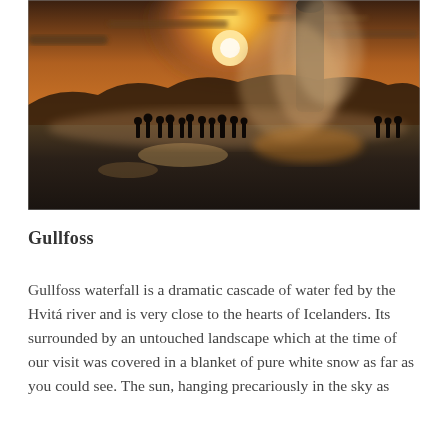[Figure (photo): A geyser erupting at sunset with silhouetted people watching in the foreground on a snowy landscape. Golden sky with sun partially visible behind clouds and steam.]
Gullfoss
Gullfoss waterfall is a dramatic cascade of water fed by the Hvitá river and is very close to the hearts of Icelanders. Its surrounded by an untouched landscape which at the time of our visit was covered in a blanket of pure white snow as far as you could see. The sun, hanging precariously in the sky as